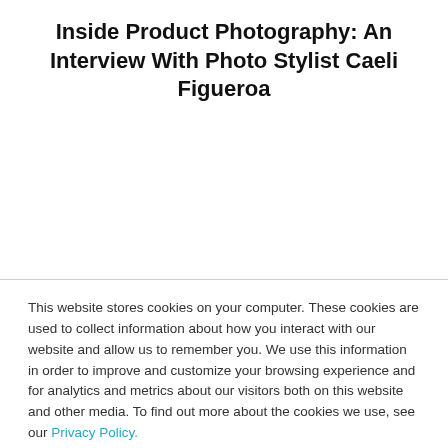Inside Product Photography: An Interview With Photo Stylist Caeli Figueroa
[Figure (photo): Large white/blank image area below the title]
This website stores cookies on your computer. These cookies are used to collect information about how you interact with our website and allow us to remember you. We use this information in order to improve and customize your browsing experience and for analytics and metrics about our visitors both on this website and other media. To find out more about the cookies we use, see our Privacy Policy.
Accept